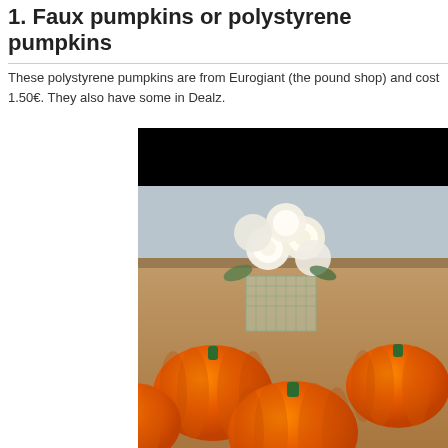1. Faux pumpkins or polystyrene pumpkins
These polystyrene pumpkins are from Eurogiant (the pound shop) and cost 1.50€. They also have some in Dealz.
[Figure (photo): Photo showing orange polystyrene/faux pumpkins with green stems arranged on a wooden table, with a bouquet of white roses in a glass vase in the background. The top portion of the image is blacked out.]